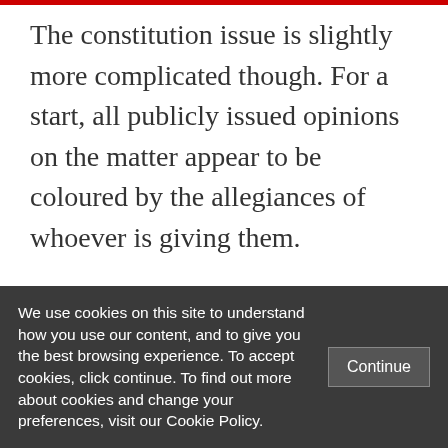The constitution issue is slightly more complicated though. For a start, all publicly issued opinions on the matter appear to be coloured by the allegiances of whoever is giving them.
It does not help that there is some ambiguity in the constitution. It does not explicitly state what the government may or may not be composed of. Instead it references “the [partially visible text]”
We use cookies on this site to understand how you use our content, and to give you the best browsing experience. To accept cookies, click continue. To find out more about cookies and change your preferences, visit our Cookie Policy.